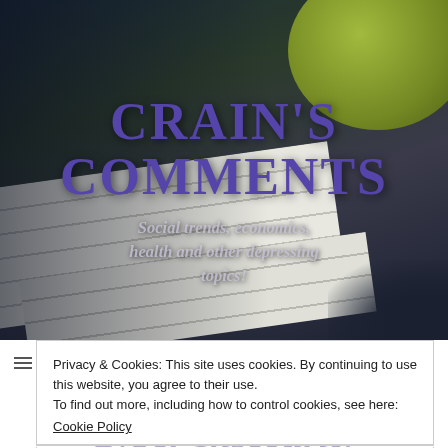[Figure (photo): Header image showing stacked notebooks/books with lined pages visible, a green bowl in the top-right corner, dark moody lighting with brown/green/navy tones]
CRAIN'S COMMENTS
Social trends, economics, health and other depressing topics!
Privacy & Cookies: This site uses cookies. By continuing to use this website, you agree to their use.
To find out more, including how to control cookies, see here:
Cookie Policy
Close and accept
Cyber Insecurity